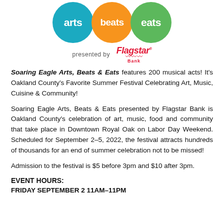[Figure (logo): Arts Beats Eats logo with three colored circles: blue 'arts', orange 'beats', green 'eats']
presented by Flagstar Bank
Soaring Eagle Arts, Beats & Eats features 200 musical acts! It's Oakland County's Favorite Summer Festival Celebrating Art, Music, Cuisine & Community!
Soaring Eagle Arts, Beats & Eats presented by Flagstar Bank is Oakland County's celebration of art, music, food and community that take place in Downtown Royal Oak on Labor Day Weekend. Scheduled for September 2–5, 2022, the festival attracts hundreds of thousands for an end of summer celebration not to be missed!
Admission to the festival is $5 before 3pm and $10 after 3pm.
EVENT HOURS:
FRIDAY SEPTEMBER 2 11AM–11PM